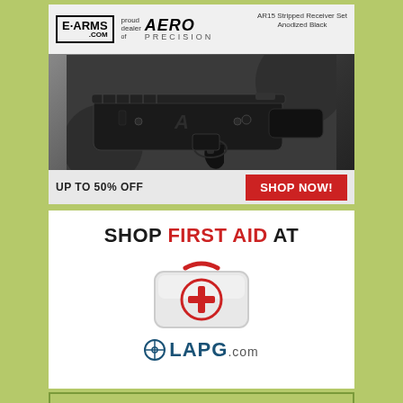[Figure (advertisement): E-Arms.com advertisement showing AR15 Stripped Receiver Set Anodized Black product. Features E-Arms logo, 'proud dealer of AERO PRECISION' text, product image of AR15 receiver in dark setting, 'UP TO 50% OFF' text, and a red 'SHOP NOW!' button.]
[Figure (advertisement): LAPG.com advertisement with text 'SHOP FIRST AID AT' in black and red, an illustration of a white first aid kit with red cross symbol, and the LAPG.com logo in navy blue.]
[Figure (advertisement): Partial advertisement with olive/green background and border, showing text 'Think your product' in italic serif font.]